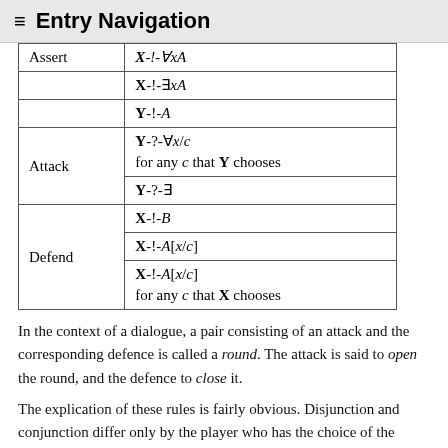≡ Entry Navigation
| Role | Formula |
| --- | --- |
| Assert | X-!-∀xA |
|  | X-!-∃xA |
|  | Y-!-A |
| Attack | Y-?-∀x/c for any c that Y chooses |
|  | Y-?-∃ |
|  | X-!-B |
| Defend | X-!-A[x/c] |
|  | X-!-A[x/c] for any c that X chooses |
In the context of a dialogue, a pair consisting of an attack and the corresponding defence is called a round. The attack is said to open the round, and the defence to close it.
The explication of these rules is fairly obvious. Disjunction and conjunction differ only by the player who has the choice of the immediate subformula with which the game will proceed: in a conjunction, the challenger